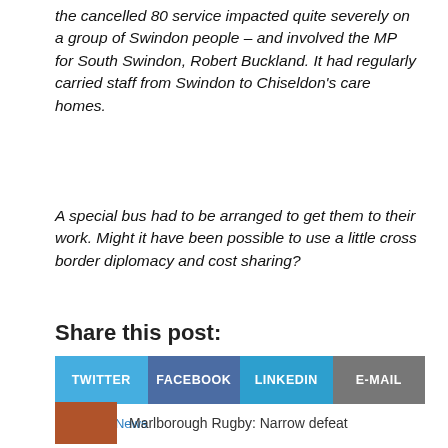the cancelled 80 service impacted quite severely on a group of Swindon people – and involved the MP for South Swindon, Robert Buckland.  It had regularly carried staff from Swindon to Chiseldon's care homes.
A special bus had to be arranged to get them to their work.  Might it have been possible to use a little cross border diplomacy and cost sharing?
Share this post:
TWITTER  FACEBOOK  LINKEDIN  E-MAIL
Category: News
Marlborough Rugby: Narrow defeat